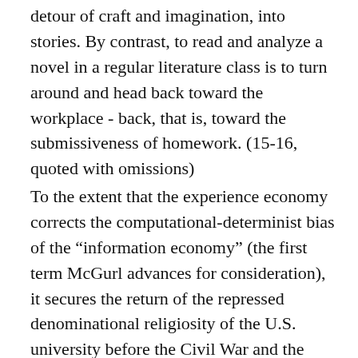detour of craft and imagination, into stories. By contrast, to read and analyze a novel in a regular literature class is to turn around and head back toward the workplace - back, that is, toward the submissiveness of homework. (15-16, quoted with omissions)
To the extent that the experience economy corrects the computational-determinist bias of the "information economy" (the first term McGurl advances for consideration), it secures the return of the repressed denominational religiosity of the U.S. university before the Civil War and the Morrill Land-Grant Acts, as well as the humanist antagonism of secular science before the triumph of World War II. But